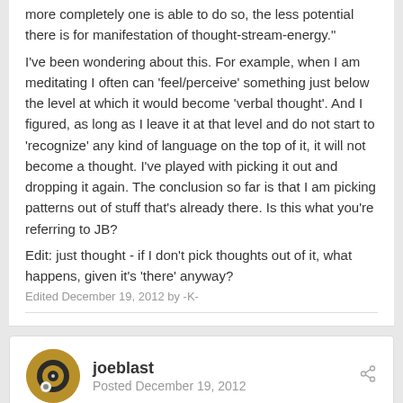more completely one is able to do so, the less potential there is for manifestation of thought-stream-energy."
I've been wondering about this. For example, when I am meditating I often can 'feel/perceive' something just below the level at which it would become 'verbal thought'. And I figured, as long as I leave it at that level and do not start to 'recognize' any kind of language on the top of it, it will not become a thought. I've played with picking it out and dropping it again. The conclusion so far is that I am picking patterns out of stuff that's already there. Is this what you're referring to JB?
Edit: just thought - if I don't pick thoughts out of it, what happens, given it's 'there' anyway?
Edited December 19, 2012 by -K-
joeblast
Posted December 19, 2012
yes, the energy potential 🙂